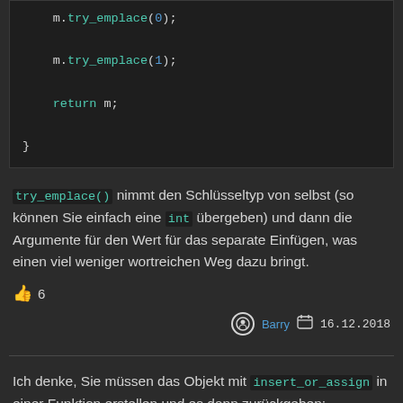[Figure (screenshot): Code block showing m.try_emplace(0); m.try_emplace(1); return m; and closing brace on dark background]
try_emplace() nimmt den Schlüsseltyp von selbst (so können Sie einfach eine int übergeben) und dann die Argumente für den Wert für das separate Einfügen, was einen viel weniger wortreichen Weg dazu bringt.
👍 6
Barry  16.12.2018
Ich denke, Sie müssen das Objekt mit insert_or_assign in einer Funktion erstellen und es dann zurückgeben: